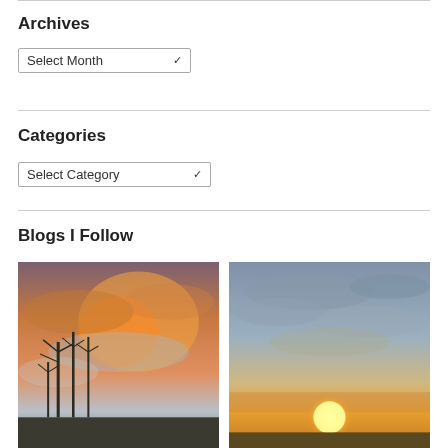Archives
Select Month
Categories
Select Category
Blogs I Follow
[Figure (photo): Sunset sky with bare trees silhouetted against orange and pink clouds]
[Figure (photo): Sunset with bright sun on horizon beneath blue sky with scattered clouds]